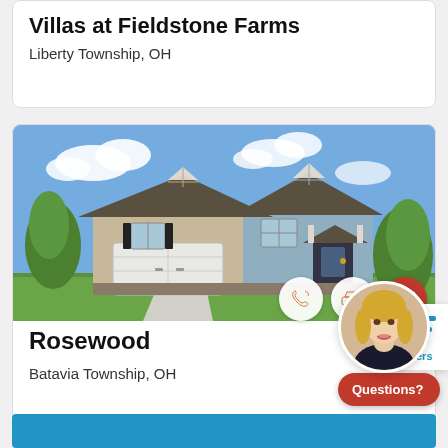Villas at Fieldstone Farms
Liberty Township, OH
[Figure (photo): Exterior photo of a two-story craftsman-style suburban home with beige and blue siding, two-car garage, front porch, and landscaped yard on a sunny day]
Rosewood
Batavia Township, OH